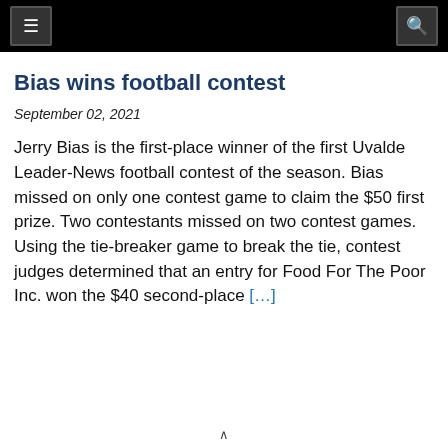≡  🔍
Bias wins football contest
September 02, 2021
Jerry Bias is the first-place winner of the first Uvalde Leader-News football contest of the season. Bias missed on only one contest game to claim the $50 first prize. Two contestants missed on two contest games. Using the tie-breaker game to break the tie, contest judges determined that an entry for Food For The Poor Inc. won the $40 second-place […]